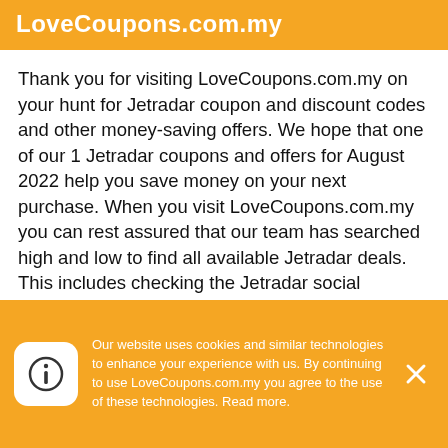LoveCoupons.com.my
Thank you for visiting LoveCoupons.com.my on your hunt for Jetradar coupon and discount codes and other money-saving offers. We hope that one of our 1 Jetradar coupons and offers for August 2022 help you save money on your next purchase. When you visit LoveCoupons.com.my you can rest assured that our team has searched high and low to find all available Jetradar deals. This includes checking the Jetradar social accounts like Facebook, Twitter and Instagram, visiting blogs and forums related to Jetradar, and even checking other top deal sites for the latest Jetradar coupon codes.
Our website uses cookies and similar technologies to enhance your experience with us. By continuing to use LoveCoupons.com.my you agree to the use of these technologies. Read more.